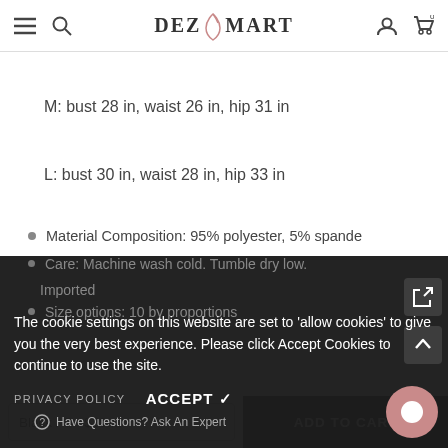DEZ MART — navigation header with hamburger, search, logo, user, cart icons
M: bust 28 in, waist 26 in, hip 31 in
L: bust 30 in, waist 28 in, hip 33 in
Material Composition: 95% polyester, 5% spande[x]
Care: Machine wash cold. Tumble dry low.
Imported
Size options: 10 by proportions
The cookie settings on this website are set to 'allow cookies' to give you the very best experience. Please click Accept Cookies to continue to use the site.
PRIVACY POLICY   ACCEPT ✓
Have Questions? Ask An Expert
Black / S - $38....   ADD TO CART